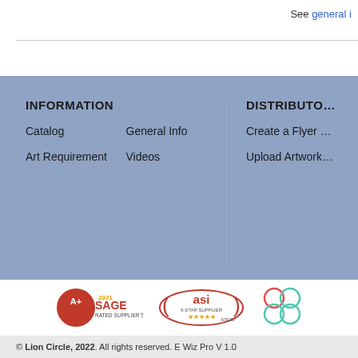See general i
INFORMATION
Catalog
Art Requirement
General Info
Videos
DISTRIBUTOR
Create a Flyer
Upload Artwork
[Figure (logo): 2021 SAGE A+ Rated Supplier 52366 logo]
[Figure (logo): ASI 5-Star Supplier 67620 logo]
[Figure (logo): Circles logo (partial)]
© Lion Circle, 2022. All rights reserved. E Wiz Pro V 1.0